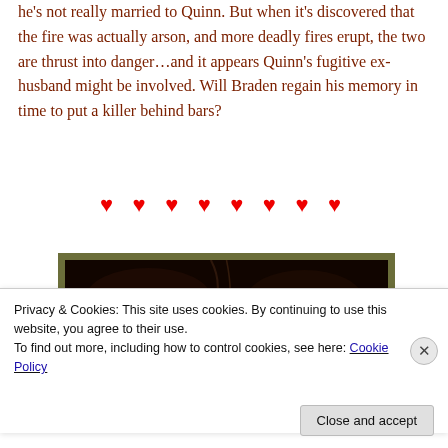he's not really married to Quinn. But when it's discovered that the fire was actually arson, and more deadly fires erupt, the two are thrust into danger…and it appears Quinn's fugitive ex-husband might be involved. Will Braden regain his memory in time to put a killer behind bars?
[Figure (other): Eight red heart symbols arranged in a horizontal row as a decorative divider]
[Figure (photo): Partially visible book cover image with dark background on olive/green border, appears to be a romance novel cover]
Privacy & Cookies: This site uses cookies. By continuing to use this website, you agree to their use.
To find out more, including how to control cookies, see here: Cookie Policy
Close and accept